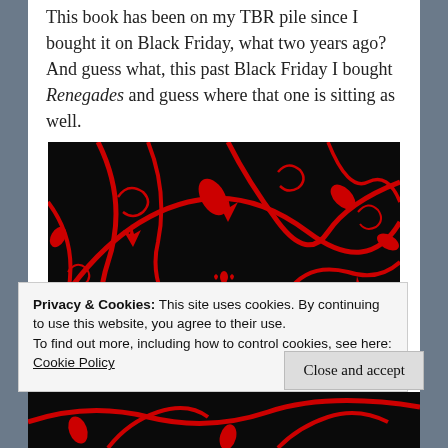This book has been on my TBR pile since I bought it on Black Friday, what two years ago? And guess what, this past Black Friday I bought Renegades and guess where that one is sitting as well.
[Figure (illustration): Decorative black background with red swirling vines, leaves, and a red crown in the center bottom area.]
Privacy & Cookies: This site uses cookies. By continuing to use this website, you agree to their use.
To find out more, including how to control cookies, see here: Cookie Policy
Close and accept